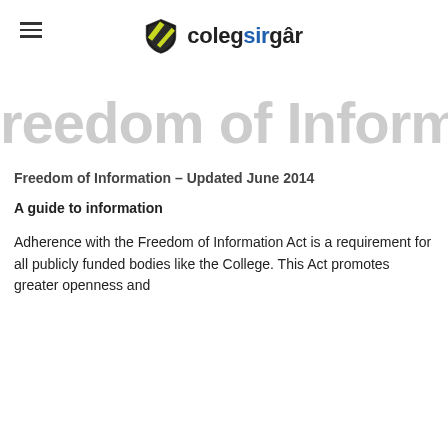colegsirgar
reedom of Information.
Freedom of Information – Updated June 2014
A guide to information
Adherence with the Freedom of Information Act is a requirement for all publicly funded bodies like the College. This Act promotes greater openness and